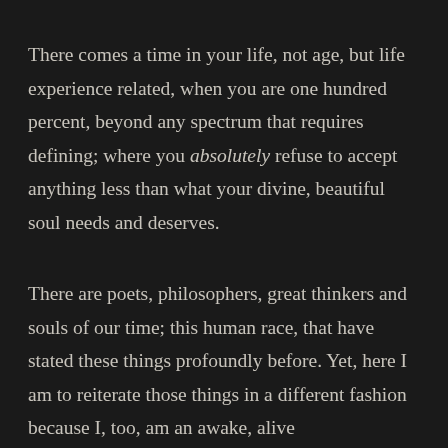There comes a time in your life, not age, but life experience related, when you are one hundred percent, beyond any spectrum that requires defining; where you absolutely refuse to accept anything less than what your divine, beautiful soul needs and deserves.
There are poets, philosophers, great thinkers and souls of our time; this human race, that have stated these things profoundly before. Yet, here I am to reiterate those things in a different fashion because I, too, am an awake, alive and that voice, a continuation of a somehow always ongoing...